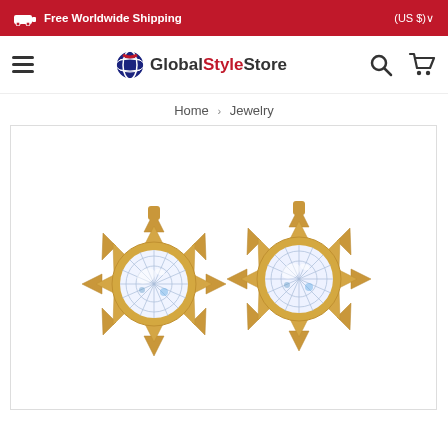Free Worldwide Shipping   (US $)
[Figure (logo): GlobalStyleStore logo with globe icon, hamburger menu, search icon, and cart icon in navigation bar]
Home › Jewelry
[Figure (photo): Two gold snowflake-style stud earrings with large round brilliant-cut crystal/diamond center stones, shown on white background]